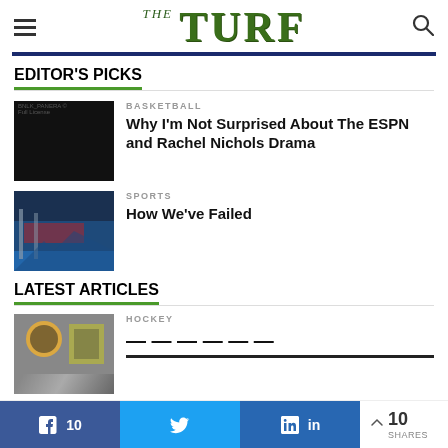THE TURF
EDITOR'S PICKS
[Figure (photo): Black image placeholder for basketball article thumbnail]
BASKETBALL
Why I'm Not Surprised About The ESPN and Rachel Nichols Drama
[Figure (photo): Sports arena/hallway photo with blue and red tones]
SPORTS
How We've Failed
LATEST ARTICLES
[Figure (photo): Hockey article thumbnail photo]
HOCKEY